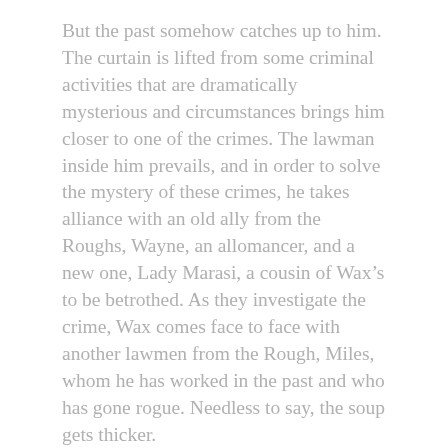But the past somehow catches up to him. The curtain is lifted from some criminal activities that are dramatically mysterious and circumstances brings him closer to one of the crimes. The lawman inside him prevails, and in order to solve the mystery of these crimes, he takes alliance with an old ally from the Roughs, Wayne, an allomancer, and a new one, Lady Marasi, a cousin of Wax’s to be betrothed. As they investigate the crime, Wax comes face to face with another lawmen from the Rough, Miles, whom he has worked in the past and who has gone rogue. Needless to say, the soup gets thicker.
Couple of familiar characters from the Mistborn universe makes their tiny appearances towards the end. I won’t tell you who they are, but keep a look out for them. It is almost nostalgic (I felt like going